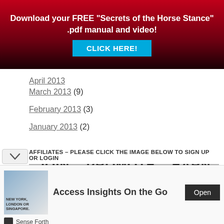[Figure (infographic): Red gradient banner with white bold text: 'Download your FREE "Secrets of the Horse Stance" .pdf manual and video!' and a cyan/blue CLICK HERE! button]
March 2013 (9)
February 2013 (3)
January 2013 (2)
AFFILIATES – PLEASE CLICK THE IMAGE BELOW TO SIGN UP OR LOGIN
[Figure (infographic): Grey banner with bold black text JOIN, PROMOTE, EARN in three columns with circular icons below each]
[Figure (infographic): Ad banner: image of person with luggage, text 'NEW YORK, LONDON OR SINGAPORE.' and 'Access Insights On the Go' with Open button, branded Sense Forth]